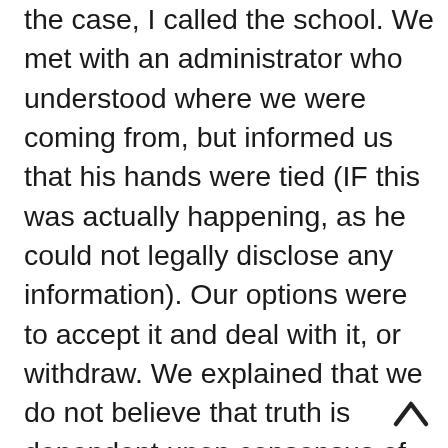the case, I called the school. We met with an administrator who understood where we were coming from, but informed us that his hands were tied (IF this was actually happening, as he could not legally disclose any information). Our options were to accept it and deal with it, or withdraw. We explained that we do not believe that truth is dependent upon consensus of opinion. There are a lot of things that are currently socially acceptable that we do not engage in, and this is because we base our lives on the Bible. I have never been one to force my beliefs on anyone else, and I do not appreciate an agenda, from 1-2% of the overall population, being forced on my daughter while she is in school. We send her to school every day with the knowledge and understanding that they are doing their best to keep her physically